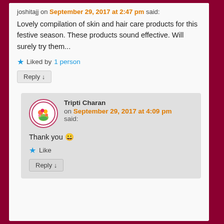joshitajj on September 29, 2017 at 2:47 pm said:
Lovely compilation of skin and hair care products for this festive season. These products sound effective. Will surely try them...
★ Liked by 1 person
Reply ↓
Tripti Charan on September 29, 2017 at 4:09 pm said:
Thank you 😀
★ Like
Reply ↓